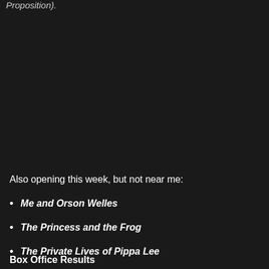Proposition).
Also opening this week, but not near me:
Me and Orson Welles
The Princess and the Frog
The Private Lives of Pippa Lee
Box Office Results